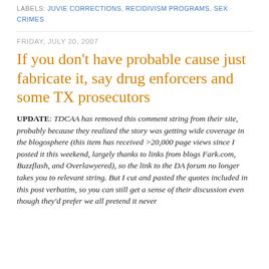LABELS: JUVIE CORRECTIONS, RECIDIVISM PROGRAMS, SEX CRIMES
FRIDAY, JULY 20, 2007
If you don't have probable cause just fabricate it, say drug enforcers and some TX prosecutors
UPDATE: TDCAA has removed this comment string from their site, probably because they realized the story was getting wide coverage in the blogosphere (this item has received >20,000 page views since I posted it this weekend, largely thanks to links from blogs Fark.com, Buzzflash, and Overlawyered), so the link to the DA forum no longer takes you to relevant string. But I cut and pasted the quotes included in this post verbatim, so you can still get a sense of their discussion even though they'd prefer we all pretend it never